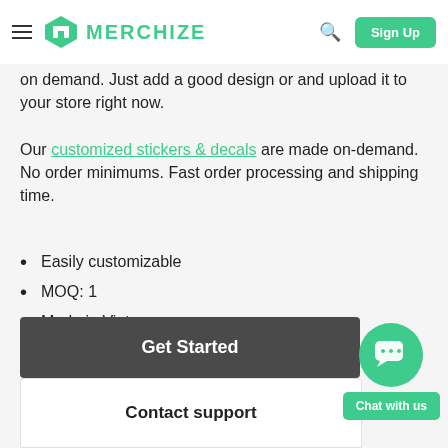Merchize — Sign Up
on demand. Just add a good design or and upload it to your store right now.
Our customized stickers & decals are made on-demand. No order minimums. Fast order processing and shipping time.
Easily customizable
MOQ: 1
Made in Vietnam
Get Started
Contact support